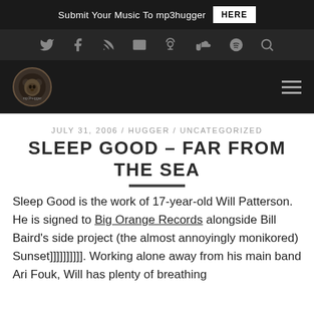Submit Your Music To mp3hugger HERE
[Figure (other): Navigation icon bar with Twitter, Facebook, RSS, Email, Podcast, SoundCloud, Spotify, and Search icons on dark background]
[Figure (logo): mp3hugger logo — circular badge with koala/bear illustration — and hamburger menu icon on dark background]
JULY 31, 2006 / HUGGER / UNCATEGORIZED
SLEEP GOOD – FAR FROM THE SEA
Sleep Good is the work of 17-year-old Will Patterson. He is signed to Big Orange Records alongside Bill Baird's side project (the almost annoyingly monikored) Sunset]]]]]]]]]]. Working alone away from his main band Ari Fouk, Will has plenty of breathing